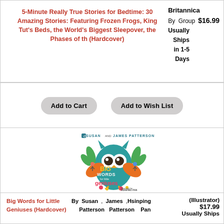5-Minute Really True Stories for Bedtime: 30 Amazing Stories: Featuring Frozen Frogs, King Tut's Beds, the World's Biggest Sleepover, the Phases of th (Hardcover) By Britannica Group $16.99 Usually Ships in 1-5 Days
Add to Cart | Add to Wish List
[Figure (illustration): Book cover: Big Words for Little Geniuses by Susan and James Patterson, illustrated by Hsinping Pan. Features a large teal owl with big eyes, with children playing around it, and colorful flowers and plants.]
Big Words for Little Geniuses (Hardcover) By Susan Patterson, James Patterson, Hsinping Pan (Illustrator) $17.99 Usually Ships